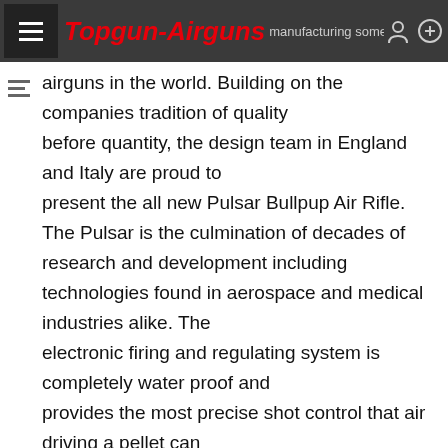Topgun-Airguns — manufacturing some of the finest
airguns in the world. Building on the companies tradition of quality before quantity, the design team in England and Italy are proud to present the all new Pulsar Bullpup Air Rifle. The Pulsar is the culmination of decades of research and development including technologies found in aerospace and medical industries alike. The electronic firing and regulating system is completely water proof and provides the most precise shot control that air driving a pellet can provide. The breech block, being machined from aircraft grade aluminum